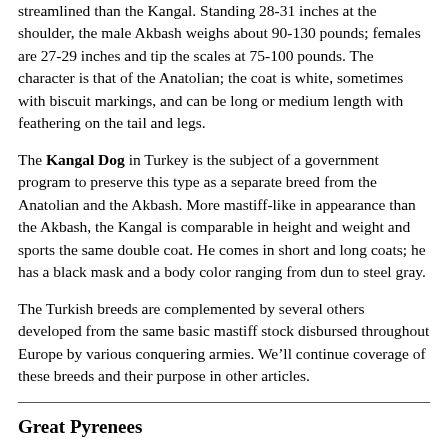streamlined than the Kangal. Standing 28-31 inches at the shoulder, the male Akbash weighs about 90-130 pounds; females are 27-29 inches and tip the scales at 75-100 pounds. The character is that of the Anatolian; the coat is white, sometimes with biscuit markings, and can be long or medium length with feathering on the tail and legs.
The Kangal Dog in Turkey is the subject of a government program to preserve this type as a separate breed from the Anatolian and the Akbash. More mastiff-like in appearance than the Akbash, the Kangal is comparable in height and weight and sports the same double coat. He comes in short and long coats; he has a black mask and a body color ranging from dun to steel gray.
The Turkish breeds are complemented by several others developed from the same basic mastiff stock disbursed throughout Europe by various conquering armies. We’ll continue coverage of these breeds and their purpose in other articles.
Great Pyrenees
Developed on the French side of the Pyrenees Mountains, the Pyr guarded sheep against wolves and bears. His calm, royal bearing, and fierce courage won him a spot in court in medieval France as a guard for the royal nobility. He has been used as a livestock dog...